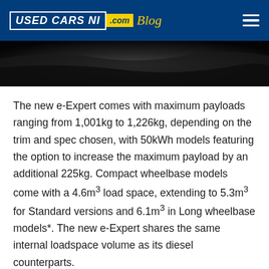USED CARS NI .com Blog
[Figure (photo): Dark/black car interior or exterior detail image strip]
The new e-Expert comes with maximum payloads ranging from 1,001kg to 1,226kg, depending on the trim and spec chosen, with 50kWh models featuring the option to increase the maximum payload by an additional 225kg. Compact wheelbase models come with a 4.6m³ load space, extending to 5.3m³ for Standard versions and 6.1m³ in Long wheelbase models*. The new e-Expert shares the same internal loadspace volume as its diesel counterparts.